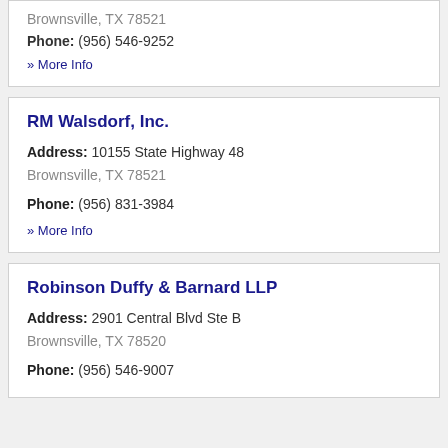Brownsville, TX 78521
Phone: (956) 546-9252
» More Info
RM Walsdorf, Inc.
Address: 10155 State Highway 48
Brownsville, TX 78521
Phone: (956) 831-3984
» More Info
Robinson Duffy & Barnard LLP
Address: 2901 Central Blvd Ste B
Brownsville, TX 78520
Phone: (956) 546-9007